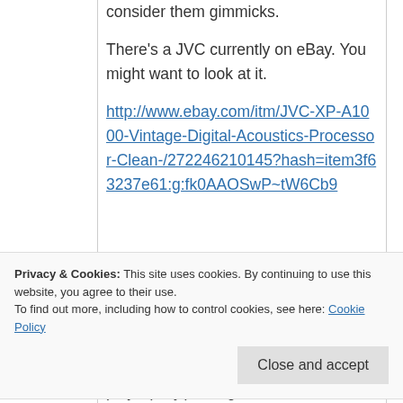consider them gimmicks.
There's a JVC currently on eBay. You might want to look at it.
http://www.ebay.com/itm/JVC-XP-A1000-Vintage-Digital-Acoustics-Processor-Clean-/272246210145?hash=item3f63237e61:g:fk0AAOSwP~tW6Cb9
Privacy & Cookies: This site uses cookies. By continuing to use this website, you agree to their use.
To find out more, including how to control cookies, see here: Cookie Policy
Close and accept
receivers. If the synthesized ambiance plays (only( through